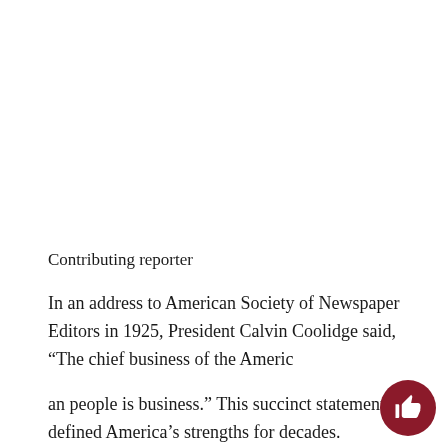Contributing reporter
In an address to American Society of Newspaper Editors in 1925, President Calvin Coolidge said, “The chief business of the Americ
an people is business.” This succinct statement defined America’s strengths for decades. Unfortunately, the idea behind Coolidge’s brilliant statement has been hijacked by business interests